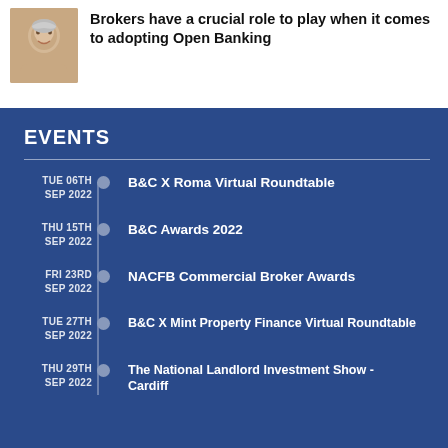[Figure (photo): Headshot photo of a woman with short grey/white hair, smiling, against a light background]
Brokers have a crucial role to play when it comes to adopting Open Banking
EVENTS
TUE 06TH SEP 2022 — B&C X Roma Virtual Roundtable
THU 15TH SEP 2022 — B&C Awards 2022
FRI 23RD SEP 2022 — NACFB Commercial Broker Awards
TUE 27TH SEP 2022 — B&C X Mint Property Finance Virtual Roundtable
THU 29TH SEP 2022 — The National Landlord Investment Show - Cardiff